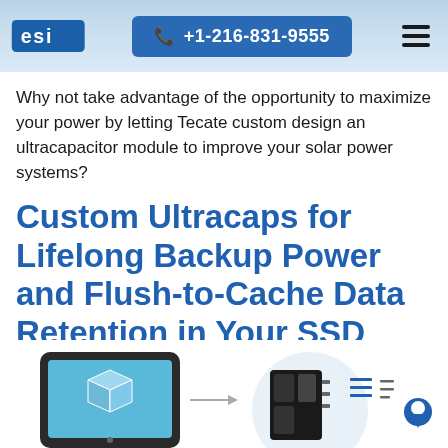ESI | +1-216-831-9555
Why not take advantage of the opportunity to maximize your power by letting Tecate custom design an ultracapacitor module to improve your solar power systems?
Custom Ultracaps for Lifelong Backup Power and Flush-to-Cache Data Retention in Your SSD System
[Figure (illustration): Bottom partial view showing two product/system illustrations: a tablet-like device on the left and an ultracapacitor module with circuit flow icons on the right, partially cropped at the page bottom.]